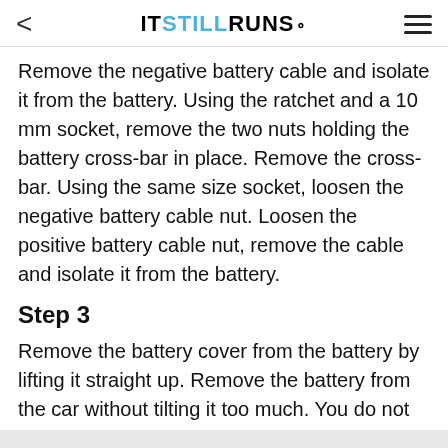ITSTILLRUNS.
Remove the negative battery cable and isolate it from the battery. Using the ratchet and a 10 mm socket, remove the two nuts holding the battery cross-bar in place. Remove the cross-bar. Using the same size socket, loosen the negative battery cable nut. Loosen the positive battery cable nut, remove the cable and isolate it from the battery.
Step 3
Remove the battery cover from the battery by lifting it straight up. Remove the battery from the car without tilting it too much. You do not want to allow any acid to spill. Clean any corrosion from the battery cable ends with the wire brush.